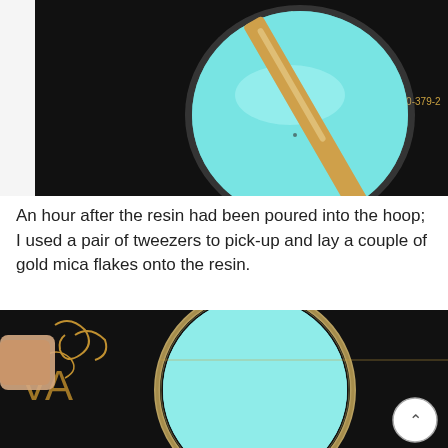[Figure (photo): Top-down view of a small round container filled with turquoise/teal colored resin being stirred with a wooden stick, placed on a black surface with partial text visible showing '800-761-...', 'WA 98368', '360-379-...', 'munndesigns.com']
An hour after the resin had been poured into the hoop; I used a pair of tweezers to pick-up and lay a couple of gold mica flakes onto the resin.
[Figure (photo): Close-up photo of a round metal hoop filled with turquoise/teal colored resin, held by a finger, placed on a dark black surface with gold decorative pattern. A small circular arrow button is visible in the bottom right corner.]